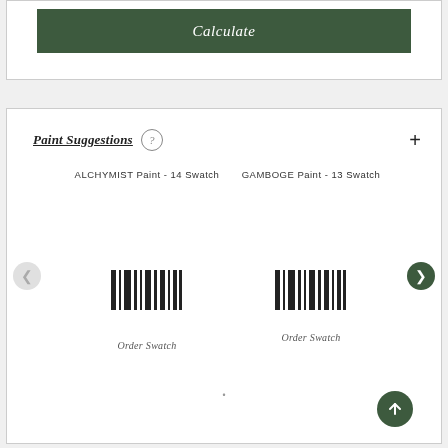[Figure (screenshot): Calculate button - dark green rectangular button with white italic text reading 'Calculate']
Paint Suggestions ?
ALCHYMIST Paint - 14 Swatch
GAMBOGE Paint - 13 Swatch
[Figure (illustration): Paint swatch barcode-style icon for ALCHYMIST]
[Figure (illustration): Paint swatch barcode-style icon for GAMBOGE]
Order Swatch
Order Swatch